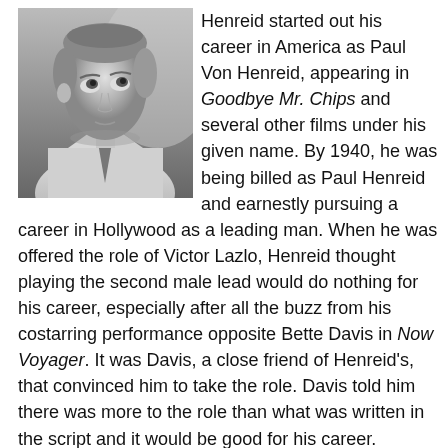[Figure (photo): Black and white photograph of a man (Paul Henreid) looking upward, wearing a suit and tie, appearing to be from a classic Hollywood film.]
Henreid started out his career in America as Paul Von Henreid, appearing in Goodbye Mr. Chips and several other films under his given name. By 1940, he was being billed as Paul Henreid and earnestly pursuing a career in Hollywood as a leading man. When he was offered the role of Victor Lazlo, Henreid thought playing the second male lead would do nothing for his career, especially after all the buzz from his costarring performance opposite Bette Davis in Now Voyager. It was Davis, a close friend of Henreid's, that convinced him to take the role. Davis told him there was more to the role than what was written in the script and it would be good for his career. Henreid finally agreed with Davis, but only after the studio promised him star billing equal to that of Bogart and Bergman. Davis's advice was confirmed after the film's release and Henreid went on to play male leads opposite